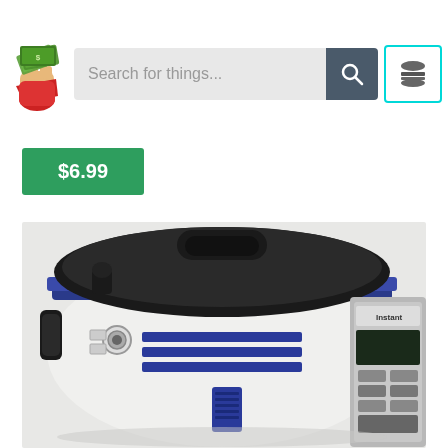[Figure (logo): A cartoon hand holding a fanned-out stack of cash/money bills, wearing a red sleeve — a deal/savings website mascot logo]
[Figure (screenshot): Search bar with placeholder text 'Search for things...' and a dark teal/slate search button with a magnifying glass icon, followed by a hamburger menu icon button with cyan border]
$6.99
[Figure (photo): An Instant Pot pressure cooker decorated with R2-D2 Star Wars artwork — white and blue body with R2-D2 graphic panels, black lid with handle, and control panel visible on the right side]